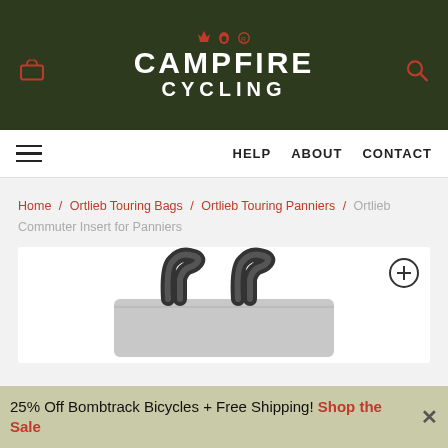[Figure (logo): Campfire Cycling website header with dark olive green background, red cart and search icons, and white text logo reading CAMPFIRE CYCLING with small red flame/campfire icons above]
HELP  ABOUT  CONTACT navigation bar with hamburger menu
Home / Ortlieb Touring Bags / Ortlieb Touring Panniers / Ortlieb Commuter Insert for Panniers
[Figure (photo): Product photo of Ortlieb Commuter Insert for Panniers - a grey flat bag with black carry handles, shown partially cropped. A zoom/expand icon is visible in the top right corner.]
25% Off Bombtrack Bicycles + Free Shipping! Shop the Sale